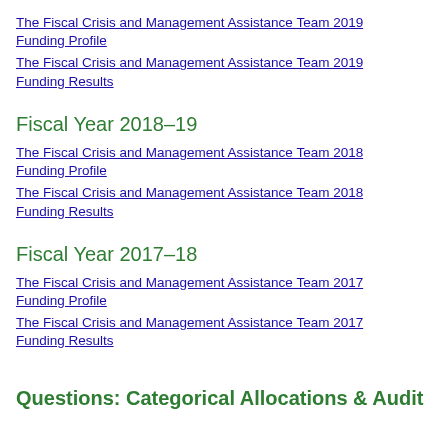The Fiscal Crisis and Management Assistance Team 2019 Funding Profile
The Fiscal Crisis and Management Assistance Team 2019 Funding Results
Fiscal Year 2018–19
The Fiscal Crisis and Management Assistance Team 2018 Funding Profile
The Fiscal Crisis and Management Assistance Team 2018 Funding Results
Fiscal Year 2017–18
The Fiscal Crisis and Management Assistance Team 2017 Funding Profile
The Fiscal Crisis and Management Assistance Team 2017 Funding Results
Questions:  Categorical Allocations & Audit